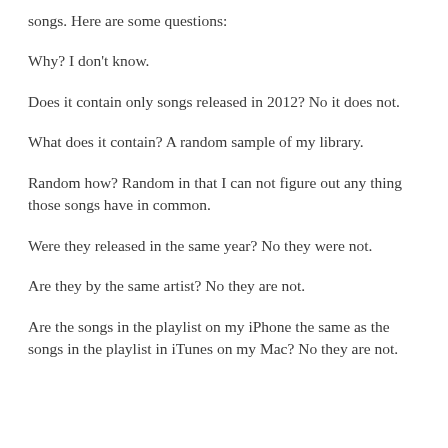songs. Here are some questions:
Why? I don't know.
Does it contain only songs released in 2012? No it does not.
What does it contain? A random sample of my library.
Random how? Random in that I can not figure out any thing those songs have in common.
Were they released in the same year? No they were not.
Are they by the same artist? No they are not.
Are the songs in the playlist on my iPhone the same as the songs in the playlist in iTunes on my Mac? No they are not.